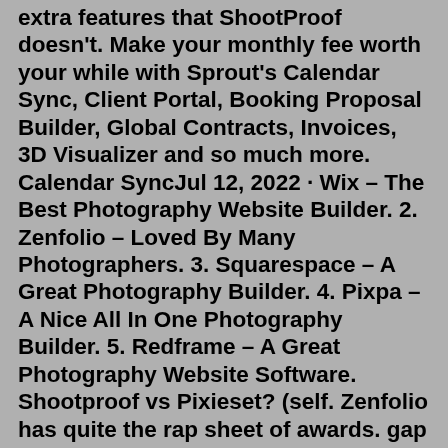extra features that ShootProof doesn't. Make your monthly fee worth your while with Sprout's Calendar Sync, Client Portal, Booking Proposal Builder, Global Contracts, Invoices, 3D Visualizer and so much more. Calendar SyncJul 12, 2022 · Wix – The Best Photography Website Builder. 2. Zenfolio – Loved By Many Photographers. 3. Squarespace – A Great Photography Builder. 4. Pixpa – A Nice All In One Photography Builder. 5. Redframe – A Great Photography Website Software. Shootproof vs Pixieset? (self. Zenfolio has quite the rap sheet of awards. gap -3 size 2. Pixieset vs Shootproof vs Pic-Time - Elyana Ivette. ShootProof is a professional platform for photographers to showcase their work, creating stunning client galleries and an easy way to conduct business online. Sep 09, 2021 · This is the first release of the 7.1 beta. New features include: Display QR code for photos uploaded via Send to Account. QR code works with following uploaders: Pixieset vs Shootproof – Foto-gallerier til levering, salg og udvælgelse af fotos. Som fotograf vil du på et